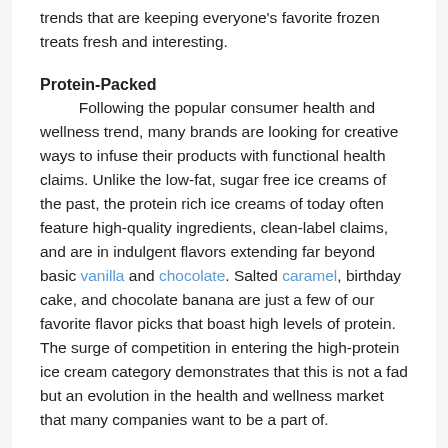trends that are keeping everyone's favorite frozen treats fresh and interesting.
Protein-Packed
Following the popular consumer health and wellness trend, many brands are looking for creative ways to infuse their products with functional health claims. Unlike the low-fat, sugar free ice creams of the past, the protein rich ice creams of today often feature high-quality ingredients, clean-label claims, and are in indulgent flavors extending far beyond basic vanilla and chocolate. Salted caramel, birthday cake, and chocolate banana are just a few of our favorite flavor picks that boast high levels of protein. The surge of competition in entering the high-protein ice cream category demonstrates that this is not a fad but an evolution in the health and wellness market that many companies want to be a part of.
Dairy-Free
Dairy free and plant-based products continue to be popular among consumers in nearly every category.